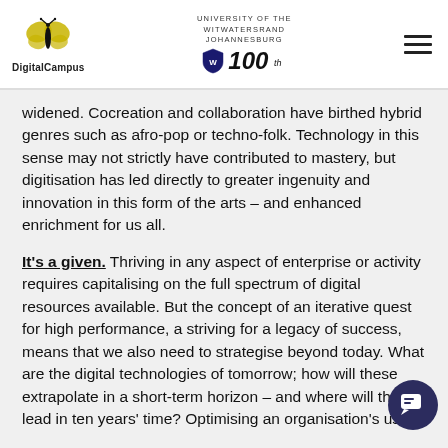DigitalCampus | University of the Witwatersrand Johannesburg | 100
widened. Cocreation and collaboration have birthed hybrid genres such as afro-pop or techno-folk. Technology in this sense may not strictly have contributed to mastery, but digitisation has led directly to greater ingenuity and innovation in this form of the arts – and enhanced enrichment for us all.
It's a given. Thriving in any aspect of enterprise or activity requires capitalising on the full spectrum of digital resources available. But the concept of an iterative quest for high performance, a striving for a legacy of success, means that we also need to strategise beyond today. What are the digital technologies of tomorrow; how will these extrapolate in a short-term horizon – and where will they lead in ten years' time? Optimising an organisation's use of